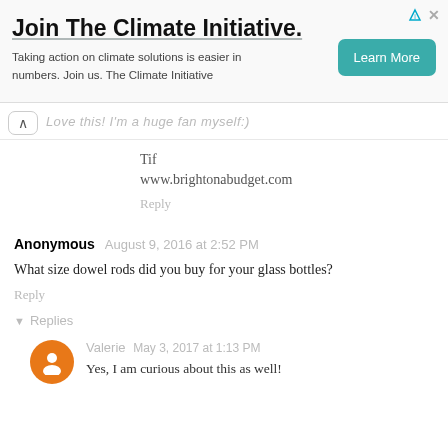[Figure (other): Advertisement banner: 'Join The Climate Initiative.' with subtext 'Taking action on climate solutions is easier in numbers. Join us. The Climate Initiative' and a teal 'Learn More' button]
Love this! I'm a huge fan myself:)
Tif
www.brightonabudget.com
Reply
Anonymous  August 9, 2016 at 2:52 PM
What size dowel rods did you buy for your glass bottles?
Reply
Replies
Valerie  May 3, 2017 at 1:13 PM
Yes, I am curious about this as well!